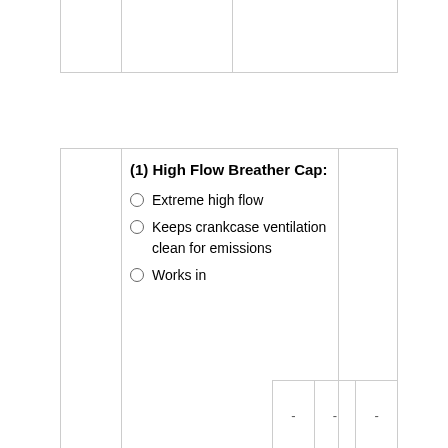|  |  |  |
| (1) High Flow Breather Cap: | Extreme high flow
Keeps crankcase ventilation clean for emissions
Works in |  |
| - | - | - |